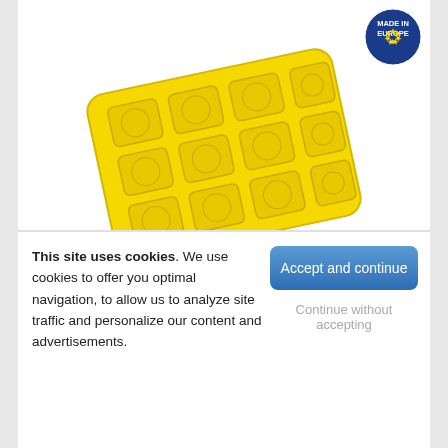[Figure (photo): Yellow rectangular ice cube tray with multiple square compartments, each containing an embossed logo/symbol pattern. Viewed at an angle. 'Made in Europe' badge in top right corner.]
[Figure (photo): Three small thumbnail images of the product showing yellow version, red version, and color/print variants.]
Standard rectangular ice cube tray. Your logo or symbol is integrated into the mould at each ice cube location to appear...
UNIT PRICE
4,74 € excl tax
Decreasing prices, including branding
EXPRESS QUOTE
This site uses cookies. We use cookies to offer you optimal navigation, to allow us to analyze site traffic and personalize our content and advertisements.
Accept and continue
Continue without accepting